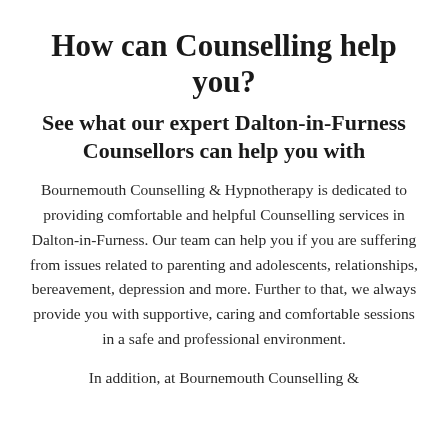How can Counselling help you?
See what our expert Dalton-in-Furness Counsellors can help you with
Bournemouth Counselling & Hypnotherapy is dedicated to providing comfortable and helpful Counselling services in Dalton-in-Furness. Our team can help you if you are suffering from issues related to parenting and adolescents, relationships, bereavement, depression and more. Further to that, we always provide you with supportive, caring and comfortable sessions in a safe and professional environment.
In addition, at Bournemouth Counselling &